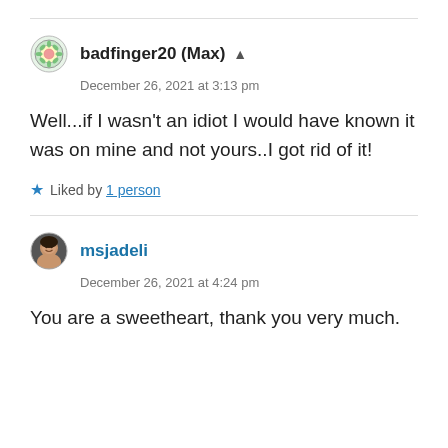badfinger20 (Max)
December 26, 2021 at 3:13 pm
Well...if I wasn’t an idiot I would have known it was on mine and not yours..I got rid of it!
Liked by 1 person
msjadeli
December 26, 2021 at 4:24 pm
You are a sweetheart, thank you very much.